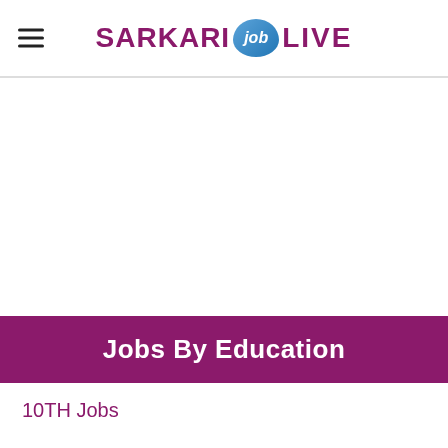SARKARI job LIVE
[Figure (other): Advertisement area (blank white space)]
Jobs By Education
10TH Jobs